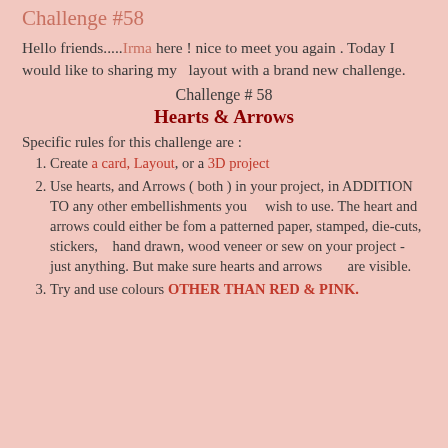Challenge #58
Hello friends.....Irma here ! nice to meet you again . Today I would like to sharing my   layout with a brand new challenge.
Challenge # 58
Hearts & Arrows
Specific rules for this challenge are :
Create a card, Layout, or a 3D project
Use hearts, and Arrows ( both ) in your project, in ADDITION TO any other embellishments you    wish to use. The heart and arrows could either be fom a patterned paper, stamped, die-cuts, stickers,   hand drawn, wood veneer or sew on your project - just anything. But make sure hearts and arrows      are visible.
Try and use colours OTHER THAN RED & PINK.